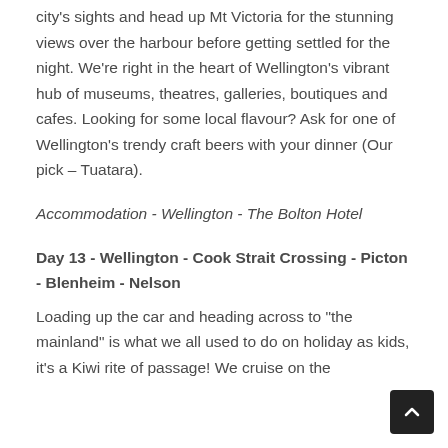city's sights and head up Mt Victoria for the stunning views over the harbour before getting settled for the night. We're right in the heart of Wellington's vibrant hub of museums, theatres, galleries, boutiques and cafes. Looking for some local flavour? Ask for one of Wellington's trendy craft beers with your dinner (Our pick – Tuatara).
Accommodation - Wellington - The Bolton Hotel
Day 13 - Wellington - Cook Strait Crossing - Picton - Blenheim - Nelson
Loading up the car and heading across to "the mainland" is what we all used to do on holiday as kids, it's a Kiwi rite of passage! We cruise on the